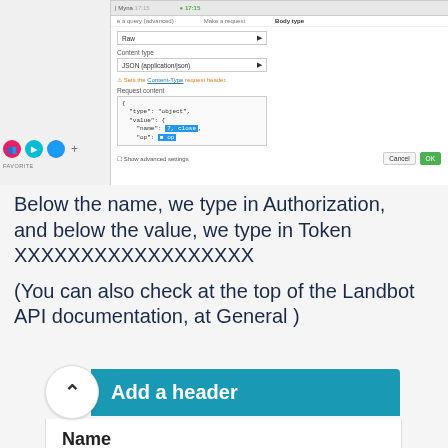[Figure (screenshot): Screenshot of a web application interface showing a dialog box with 'Body type: Raw', 'Content type: JSON (application/json)', a warning about Content-Type request header, a Request content JSON code block with highlighted values, Show advanced settings checkbox, Cancel and OK buttons. Left panel shows icons and log messages.]
Below the name, we type in Authorization, and below the value, we type in Token XXXXXXXXXXXXXXXXXX
(You can also check at the top of the Landbot API documentation, at General )
[Figure (screenshot): UI component showing a chevron-up circle button and a teal 'Add a header' bar, with a white panel below showing 'Name' label and an input field border.]